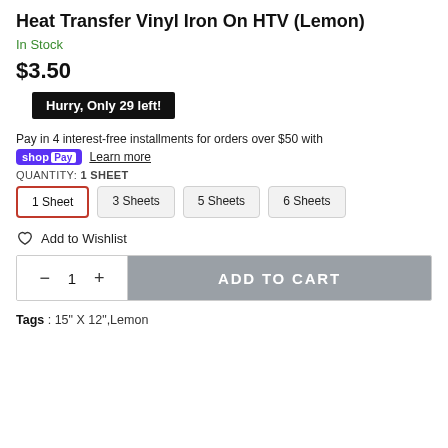Heat Transfer Vinyl Iron On HTV (Lemon)
In Stock
$3.50
Hurry, Only 29 left!
Pay in 4 interest-free installments for orders over $50 with shop Pay Learn more
QUANTITY: 1 SHEET
1 Sheet
3 Sheets
5 Sheets
6 Sheets
Add to Wishlist
- 1 + ADD TO CART
Tags : 15" X 12",Lemon